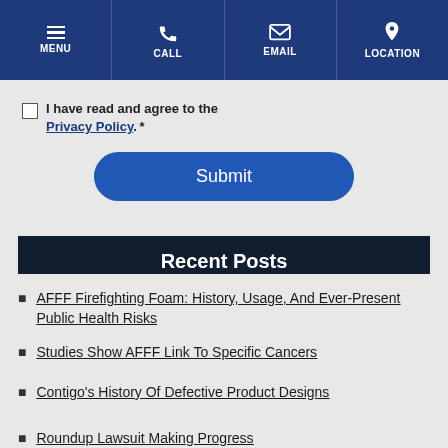MENU | CALL | EMAIL | LOCATION
I have read and agree to the Privacy Policy. *
Submit
Recent Posts
AFFF Firefighting Foam: History, Usage, And Ever-Present Public Health Risks
Studies Show AFFF Link To Specific Cancers
Contigo's History Of Defective Product Designs
Roundup Lawsuit Making Progress